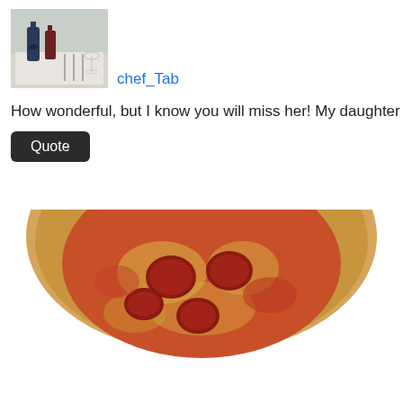[Figure (photo): Small avatar photo showing a table setting with bottles and cutlery on white tablecloth]
chef_Tab
How wonderful, but I know you will miss her! My daughter Erica's best f
Quote
[Figure (photo): Top portion of a pepperoni pizza with golden crust visible from the bottom of the page]